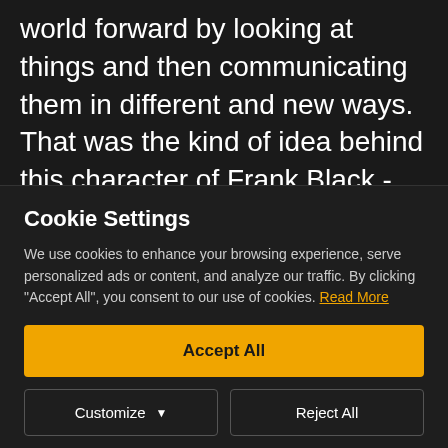world forward by looking at things and then communicating them in different and new ways. That was the kind of idea behind this character of Frank Black - somebody who doesn't necessarily have an inborn gift but something he's developed through his hard
Cookie Settings
We use cookies to enhance your browsing experience, serve personalized ads or content, and analyze our traffic. By clicking "Accept All", you consent to our use of cookies. Read More
Accept All
Customize
Reject All